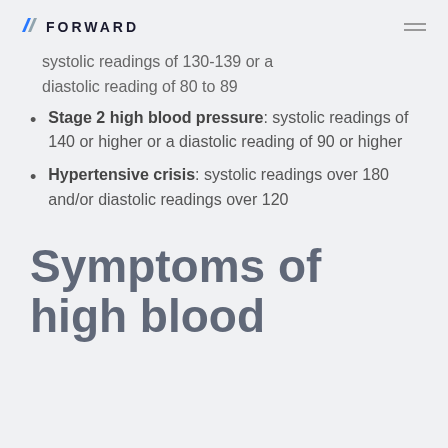FORWARD
systolic readings of 130-139 or a diastolic reading of 80 to 89
Stage 2 high blood pressure: systolic readings of 140 or higher or a diastolic reading of 90 or higher
Hypertensive crisis: systolic readings over 180 and/or diastolic readings over 120
Symptoms of high blood